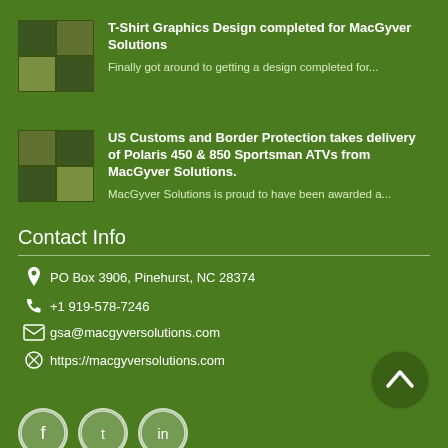[Figure (illustration): Thumbnail grid of T-shirt graphics images for MacGyver Solutions]
T-Shirt Graphics Design completed for MacGyver Solutions
Finally got around to getting a design completed for...
[Figure (illustration): Thumbnail grid of ATV / Polaris images for MacGyver Solutions]
US Customs and Border Protection takes delivery of Polaris 450 & 850 Sportsman ATVs from MacGyver Solutions.
MacGyver Solutions is proud to have been awarded a...
Contact Info
PO Box 3906, Pinehurst, NC 28374
+1 919-578-7246
gsa@macgyversolutions.com
https://macgyversolutions.com